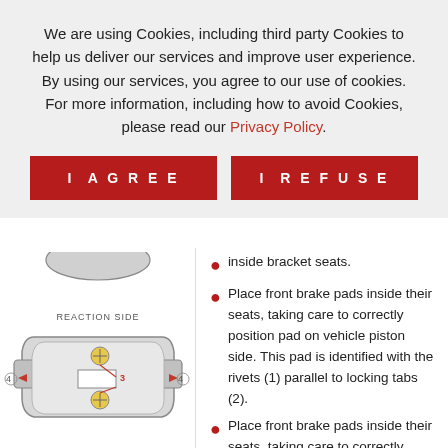We are using Cookies, including third party Cookies to help us deliver our services and improve user experience. By using our services, you agree to our use of cookies. For more information, including how to avoid Cookies, please read our Privacy Policy.
I AGREE
I REFUSE
[Figure (engineering-diagram): Diagram of a brake pad labeled REACTION SIDE. Shows the pad shape with numbered callouts: (1) rivets, (2) locking tabs, (3) center area, (4) sides with arrows. Red arrows point to features on the pad.]
inside bracket seats.
Place front brake pads inside their seats, taking care to correctly position pad on vehicle piston side. This pad is identified with the rivets (1) parallel to locking tabs (2).
Place front brake pads inside their seats, taking care to correctly position pad on